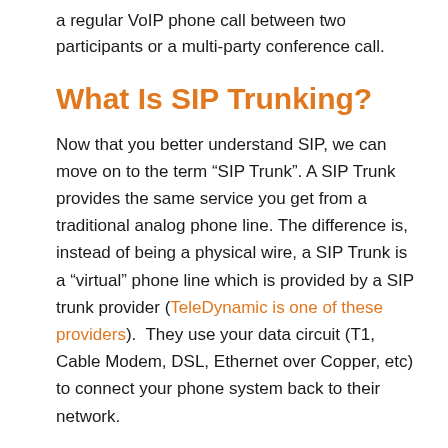a regular VoIP phone call between two participants or a multi-party conference call.
What Is SIP Trunking?
Now that you better understand SIP, we can move on to the term “SIP Trunk". A SIP Trunk provides the same service you get from a traditional analog phone line. The difference is, instead of being a physical wire, a SIP Trunk is a “virtual” phone line which is provided by a SIP trunk provider (TeleDynamic is one of these providers).  They use your data circuit (T1, Cable Modem, DSL, Ethernet over Copper, etc) to connect your phone system back to their network.
Why Convert to SIP Trunking?
Because there are no physical lines that need to be maintained with a SIP Trunk, and because of the lower price structure of VoIP, a SIP Trunk is considerably less expensive than  traditional telephone service. Depending upon the types of calls, and quantity of calls you are making, SIP Trunking can save you up to 50% and more on your monthly bill. Another reason to consider SIP trunking is the